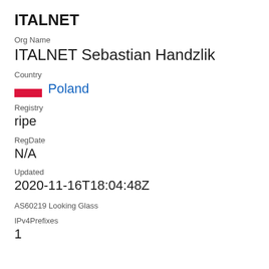ITALNET
Org Name
ITALNET Sebastian Handzlik
Country
Poland
Registry
ripe
RegDate
N/A
Updated
2020-11-16T18:04:48Z
AS60219 Looking Glass
IPv4Prefixes
1